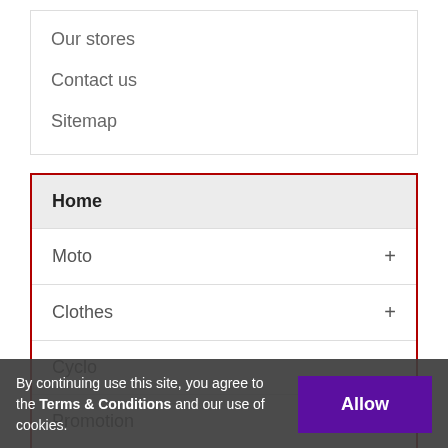Our stores
Contact us
Sitemap
Home
Moto
Clothes
Cyclo
Promotion
Services
By continuing use this site, you agree to the Terms & Conditions and our use of cookies.